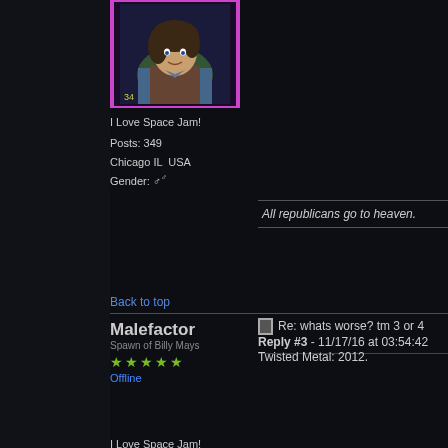[Figure (illustration): Anime-style character avatar with pink/purple border, male character in blue shirt and brown vest]
I Love Space Jam!
Posts: 349
Chicago IL  USA
Gender: ♂
All republicans go to heaven.
Back to top
Malefactor
Spawn of Billy Mays
★★★★★
Offline
Re: whats worse? tm 3 or 4
Reply #3 - 11/17/16 at 03:54:42
Twisted Metal: 2012.
I Love Space Jam!